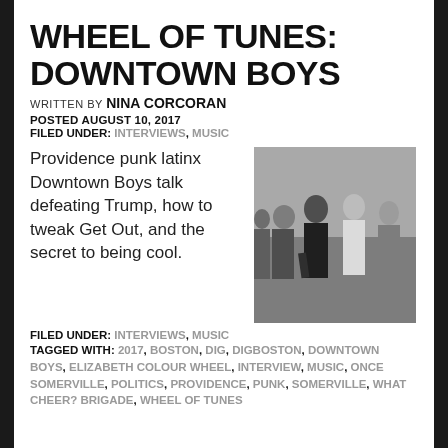WHEEL OF TUNES: DOWNTOWN BOYS
WRITTEN BY NINA CORCORAN
POSTED AUGUST 10, 2017
FILED UNDER: INTERVIEWS, MUSIC
Providence punk latinx Downtown Boys talk defeating Trump, how to tweak Get Out, and the secret to being cool.
[Figure (photo): Group photo of Downtown Boys band members, black and white/desaturated image, several people standing together outdoors]
FILED UNDER: INTERVIEWS, MUSIC
TAGGED WITH: 2017, BOSTON, DIG, DIGBOSTON, DOWNTOWN BOYS, ELIZABETH COLOUR WHEEL, INTERVIEW, MUSIC, ONCE SOMERVILLE, POLITICS, PROVIDENCE, PUNK, SOMERVILLE, WHAT CHEER? BRIGADE, WHEEL OF TUNES